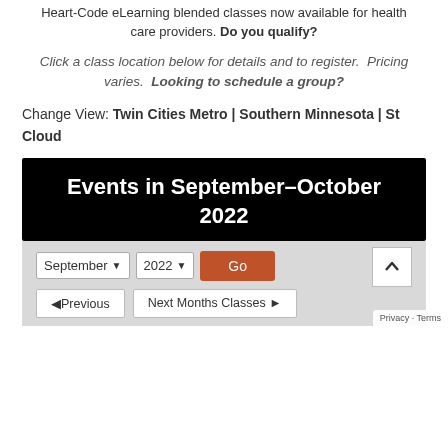Heart-Code eLearning blended classes now available for health care providers. Do you qualify?
Click a class location below for details and to register.  Pricing varies.  Looking to schedule a group?
Change View: Twin Cities Metro | Southern Minnesota | St Cloud
[Figure (other): Calendar widget header showing 'Events in September–October 2022' in white text on black background, with month/year dropdowns (September, 2022), a Go button, Previous and Next Months Classes navigation buttons, and a scroll-up arrow button.]